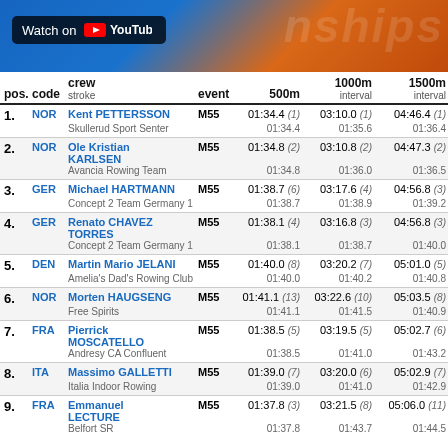[Figure (screenshot): YouTube 'Watch on YouTube' badge overlaid on a championship event header banner with blue and orange gradient background]
| pos. | code | crew / stroke | event | 500m | 1000m interval | 1500m interval |
| --- | --- | --- | --- | --- | --- | --- |
| 1. | NOR | Kent PETTERSSON / Skullerud Sport Senter | M55 | 01:34.4 (1) 01:34.4 | 03:10.0 (1) 01:35.6 | 04:46.4 (1) 01:36.4 |
| 2. | NOR | Ole Kristian KARLSEN / Avancia Rowing Team | M55 | 01:34.8 (2) 01:34.8 | 03:10.8 (2) 01:36.0 | 04:47.3 (2) 01:36.5 |
| 3. | GER | Michael HARTMANN / Concept 2 Team Germany 1 | M55 | 01:38.7 (6) 01:38.7 | 03:17.6 (4) 01:38.9 | 04:56.8 (3) 01:39.2 |
| 4. | GER | Renato CHAVEZ TORRES / Concept 2 Team Germany 1 | M55 | 01:38.1 (4) 01:38.1 | 03:16.8 (3) 01:38.7 | 04:56.8 (3) 01:40.0 |
| 5. | DEN | Martin Mario JELANI / Amelia's Dad's Rowing Club | M55 | 01:40.0 (8) 01:40.0 | 03:20.2 (7) 01:40.2 | 05:01.0 (5) 01:40.8 |
| 6. | NOR | Morten HAUGSENG / Free Spirits | M55 | 01:41.1 (13) 01:41.1 | 03:22.6 (10) 01:41.5 | 05:03.5 (8) 01:40.9 |
| 7. | FRA | Pierrick MOSCATELLO / Andresy CA Confluent | M55 | 01:38.5 (5) 01:38.5 | 03:19.5 (5) 01:41.0 | 05:02.7 (6) 01:43.2 |
| 8. | ITA | Massimo GALLETTI / Italia Indoor Rowing | M55 | 01:39.0 (7) 01:39.0 | 03:20.0 (6) 01:41.0 | 05:02.9 (7) 01:42.9 |
| 9. | FRA | Emmanuel LECTURE / Belfort SR | M55 | 01:37.8 (3) 01:37.8 | 03:21.5 (8) 01:43.7 | 05:06.0 (11) 01:44.5 |